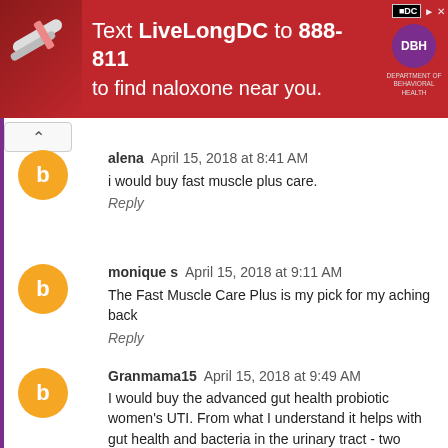[Figure (other): Red advertisement banner: Text LiveLongDC to 888-811 to find naloxone near you. Contains DC and DHH logos.]
alena  April 15, 2018 at 8:41 AM
i would buy fast muscle plus care.
Reply
monique s  April 15, 2018 at 9:11 AM
The Fast Muscle Care Plus is my pick for my aching back
Reply
Granmama15  April 15, 2018 at 9:49 AM
I would buy the advanced gut health probiotic women's UTI. From what I understand it helps with gut health and bacteria in the urinary tract - two problems at once, which is great!!
Reply